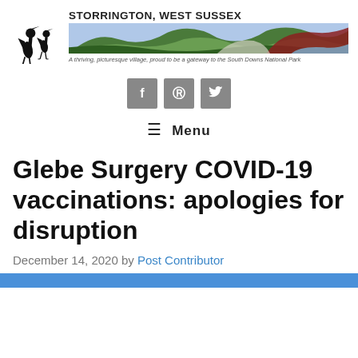[Figure (logo): Storrington West Sussex website header with two stork silhouettes, site title 'STORRINGTON, WEST SUSSEX', a colorful landscape banner, and tagline 'A thriving, picturesque village, proud to be a gateway to the South Downs National Park']
[Figure (infographic): Three grey social media icon buttons: Facebook (f), Pinterest (p), Twitter (bird)]
≡  Menu
Glebe Surgery COVID-19 vaccinations: apologies for disruption
December 14, 2020 by Post Contributor